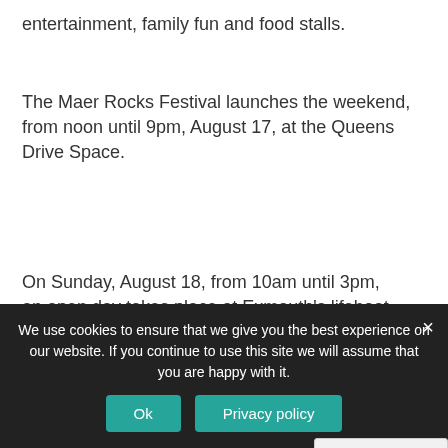entertainment, family fun and food stalls.
The Maer Rocks Festival launches the weekend, from noon until 9pm, August 17, at the Queens Drive Space.
On Sunday, August 18, from 10am until 3pm, an open day takes place at Exmouth's lifeboat station on Queens Drive.
Our Exmouth RNLI lifeboat weekend is
We use cookies to ensure that we give you the best experience on our website. If you continue to use this site we will assume that you are happy with it.